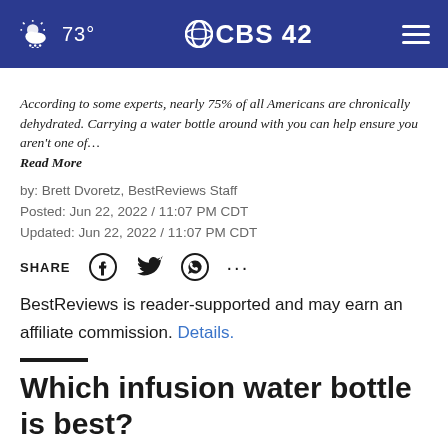73° CBS42
According to some experts, nearly 75% of all Americans are chronically dehydrated. Carrying a water bottle around with you can help ensure you aren't one of… Read More
by: Brett Dvoretz, BestReviews Staff
Posted: Jun 22, 2022 / 11:07 PM CDT
Updated: Jun 22, 2022 / 11:07 PM CDT
SHARE
BestReviews is reader-supported and may earn an affiliate commission. Details.
Which infusion water bottle is best?